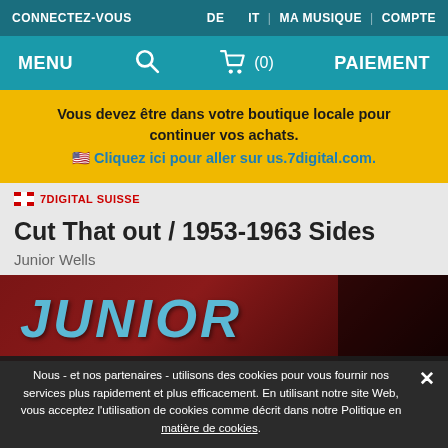CONNECTEZ-VOUS | DE IT | MA MUSIQUE | COMPTE
MENU | (search) | (0) | PAIEMENT
Vous devez être dans votre boutique locale pour continuer vos achats. 🇺🇸 Cliquez ici pour aller sur us.7digital.com.
🇨🇭 7DIGITAL SUISSE
Cut That out / 1953-1963 Sides
Junior Wells
[Figure (photo): Album cover for Cut That out / 1953-1963 Sides by Junior Wells, showing text in blue stylized font on a dark red/maroon background]
Nous - et nos partenaires - utilisons des cookies pour vous fournir nos services plus rapidement et plus efficacement. En utilisant notre site Web, vous acceptez l'utilisation de cookies comme décrit dans notre Politique en matière de cookies.